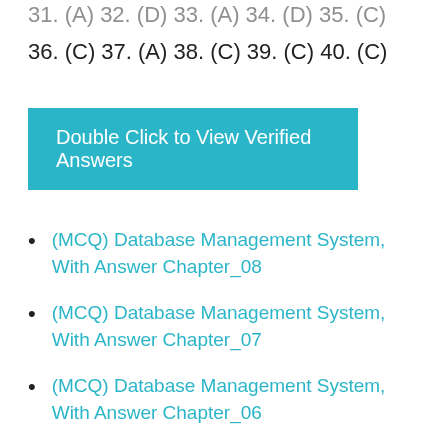31. (A) 32. (D) 33. (A) 34. (D) 35. (C)
36. (C) 37. (A) 38. (C) 39. (C) 40. (C)
Double Click to View Verified Answers
(MCQ) Database Management System, With Answer Chapter_08
(MCQ) Database Management System, With Answer Chapter_07
(MCQ) Database Management System, With Answer Chapter_06
(MCQ) Database Management System, With